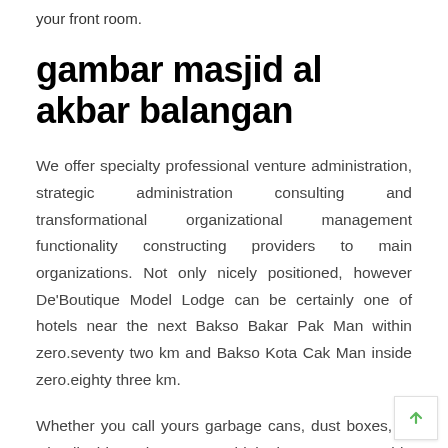your front room.
gambar masjid al akbar balangan
We offer specialty professional venture administration, strategic administration consulting and transformational organizational management functionality constructing providers to main organizations. Not only nicely positioned, however De'Boutique Model Lodge can be certainly one of hotels near the next Bakso Bakar Pak Man within zero.seventy two km and Bakso Kota Cak Man inside zero.eighty three km.
Whether you call yours garbage cans, dust boxes, or wheelie bins, chances are high that your moveable receptacles are usually not adding to the curb attraction of your property.